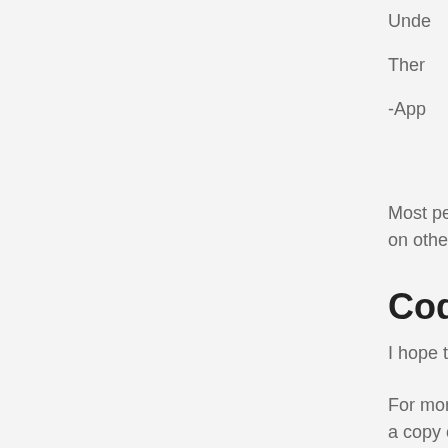Unde
Ther
-App
Most people w on other platfo
Coda
I hope this sim
For more of hi a copy of Bob
I'm glad
After writing th watching a do